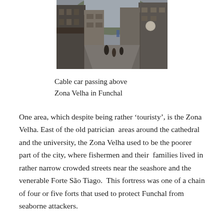[Figure (photo): A narrow street scene in Zona Velha, Funchal, showing tall buildings lining both sides of a cobblestone street with pedestrians and a hillside visible in the background.]
Cable car passing above Zona Velha in Funchal
One area, which despite being rather ‘touristy’, is the Zona Velha. East of the old patrician areas around the cathedral and the university, the Zona Velha used to be the poorer part of the city, where fishermen and their families lived in rather narrow crowded streets near the seashore and the venerable Forte São Tiago. This fortress was one of a chain of four or five forts that used to protect Funchal from seaborne attackers.